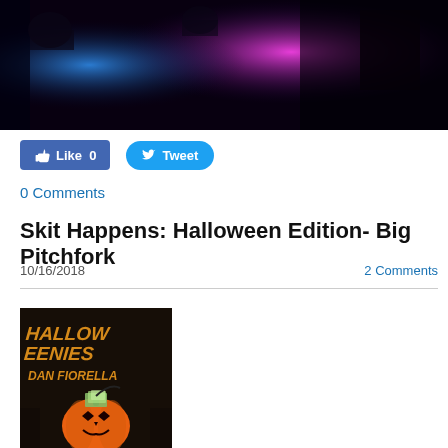[Figure (photo): Dark stage photo with purple and pink neon lights in the background]
[Figure (other): Facebook Like button showing 0 and Twitter Tweet button]
0 Comments
Skit Happens: Halloween Edition- Big Pitchfork
10/16/2018
2 Comments
[Figure (photo): Book cover for Halloweenies by Dan Fiorella showing a jack-o-lantern pumpkin with money sticking out of it]